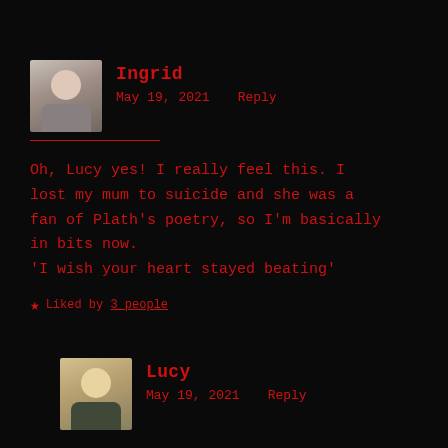[Figure (photo): Avatar photo of Ingrid, a woman with dark hair]
Ingrid
May 19, 2021    Reply
Oh, Lucy yes! I really feel this. I lost my mum to suicide and she was a fan of Plath's poetry, so I'm basically in bits now.
'I wish your heart stayed beating'
★ Liked by 3 people
[Figure (photo): Avatar photo of Lucy, a woman with blonde hair]
Lucy
May 19, 2021    Reply